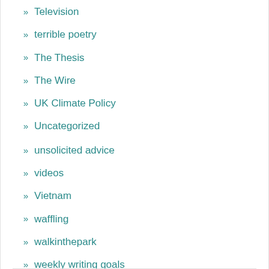Television
terrible poetry
The Thesis
The Wire
UK Climate Policy
Uncategorized
unsolicited advice
videos
Vietnam
waffling
walkinthepark
weekly writing goals
white privilege
words